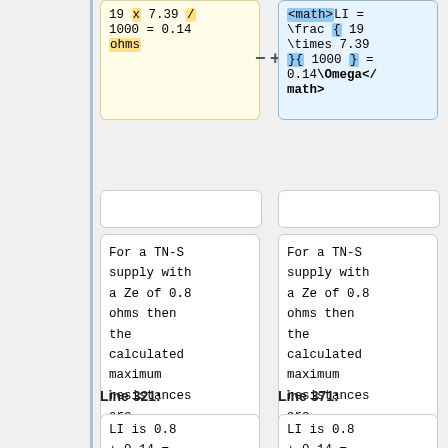19 x 7.39 / 1000 = 0.14 ohms
<math>LI = \frac { 19 \times 7.39 }{ 1000 } = 0.14\Omega</math>
For a TN-S supply with a Ze of 0.8 ohms then the calculated maximum resistances are
For a TN-S supply with a Ze of 0.8 ohms then the calculated maximum resistances are
Line 321:
Line 371:
LI is 0.8 + 0.14 =
LI is 0.8 + 0.14 =